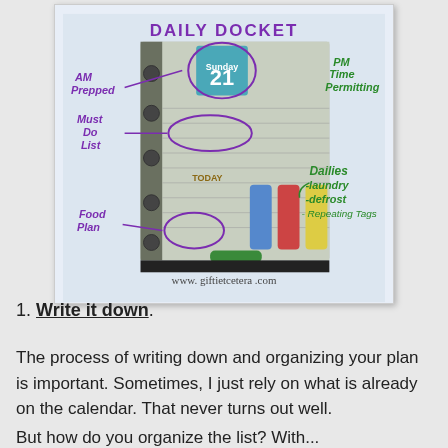[Figure (photo): A photo of a 'Daily Docket' planner page with handwritten annotations. Purple handwriting labels: 'AM Prepped', 'Must Do List', 'Food Plan'. Green handwriting labels: 'PM', 'Time Permitting', 'Dailies -laundry -defrost', 'Repeating Tags'. The planner shows a date of 21, with colored sticky tags. Website: www.giftietcetera.com]
1. Write it down.
The process of writing down and organizing your plan is important. Sometimes, I just rely on what is already on the calendar. That never turns out well.
But how do you organize the list? With...